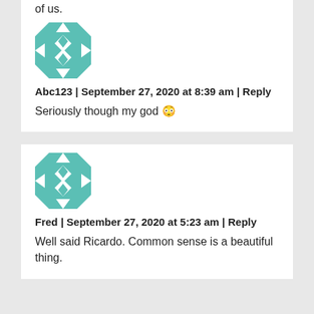of us.
[Figure (illustration): Teal geometric quilt-pattern avatar for user Abc123]
Abc123 | September 27, 2020 at 8:39 am | Reply
Seriously though my god 😳
[Figure (illustration): Teal geometric quilt-pattern avatar for user Fred]
Fred | September 27, 2020 at 5:23 am | Reply
Well said Ricardo. Common sense is a beautiful thing.